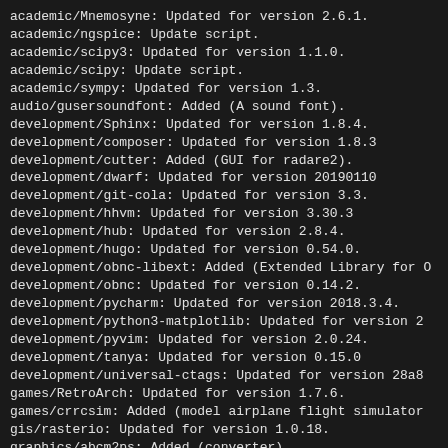academic/Mnemosyne: Updated for version 2.6.1.
academic/ngspice: Update script.
academic/scipy3: Updated for version 1.1.0.
academic/scipy: Update script.
academic/sympy: Updated for version 1.3.
audio/gusersoundfont: Added (A sound font).
development/Sphinx: Updated for version 1.8.4.
development/composer: Updated for version 1.8.3
development/cutter: Added (GUI for radare2).
development/dwarf: Updated for version 20190110
development/git-cola: Updated for version 3.3.
development/hhvm: Updated for version 3.30.3
development/hub: Updated for version 2.8.4.
development/hugo: Updated for version 0.54.0.
development/obnc-libext: Added (Extended Library for O
development/obnc: Updated for version 0.14.2.
development/pycharm: Updated for version 2018.3.4.
development/python3-matplotlib: Updated for version 2
development/pyvim: Updated for version 2.0.24.
development/tanya: Updated for version 0.15.0
development/universal-ctags: Updated for version 28a8
games/RetroArch: Updated for version 1.7.6.
games/crrcsim: Added (model airplane flight simulator
gis/rasterio: Updated for version 1.0.18.
graphics/abcm2ps: Added (converter).
graphics/advancecomp: Updated for version 2.1.
graphics/pygraphviz: Updated for version 1.5.
graphicss/sxiv: Updated for version 25.
ham/cqrlog: Updated for version 2.3.0.
libraries/SOPE: Updated for version 4.0.5